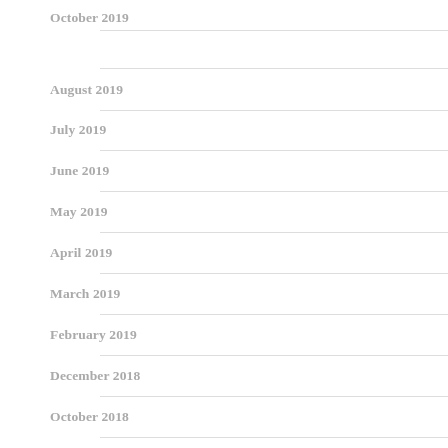October 2019
August 2019
July 2019
June 2019
May 2019
April 2019
March 2019
February 2019
December 2018
October 2018
September 2018